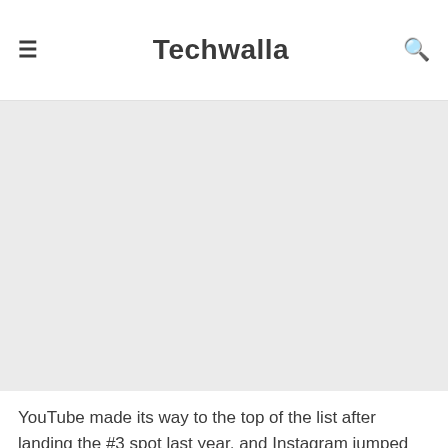Techwalla
[Figure (other): Gray advertisement or image placeholder area]
YouTube made its way to the top of the list after landing the #3 spot last year, and Instagram jumped up